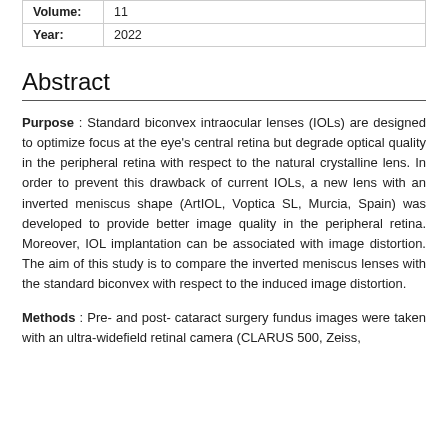| Volume: | 11 |
| Year: | 2022 |
Abstract
Purpose : Standard biconvex intraocular lenses (IOLs) are designed to optimize focus at the eye's central retina but degrade optical quality in the peripheral retina with respect to the natural crystalline lens. In order to prevent this drawback of current IOLs, a new lens with an inverted meniscus shape (ArtIOL, Voptica SL, Murcia, Spain) was developed to provide better image quality in the peripheral retina. Moreover, IOL implantation can be associated with image distortion. The aim of this study is to compare the inverted meniscus lenses with the standard biconvex with respect to the induced image distortion.
Methods : Pre- and post- cataract surgery fundus images were taken with an ultra-widefield retinal camera (CLARUS 500, Zeiss,